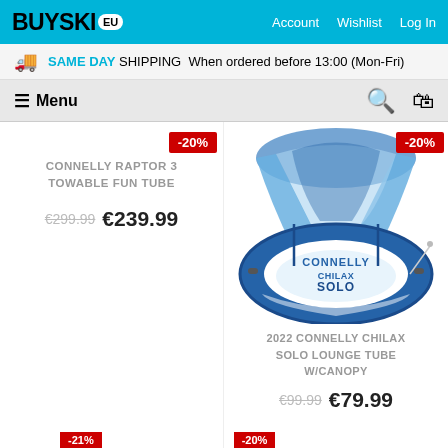BUYSKI EU — Account  Wishlist  Log In
SAME DAY SHIPPING When ordered before 13:00 (Mon-Fri)
≡ Menu
CONNELLY RAPTOR 3 TOWABLE FUN TUBE
€299.99 €239.99
[Figure (photo): Blue and white inflatable tube with canopy - 2022 Connelly Chilax Solo Lounge Tube W/Canopy]
2022 CONNELLY CHILAX SOLO LOUNGE TUBE W/CANOPY
€99.99 €79.99